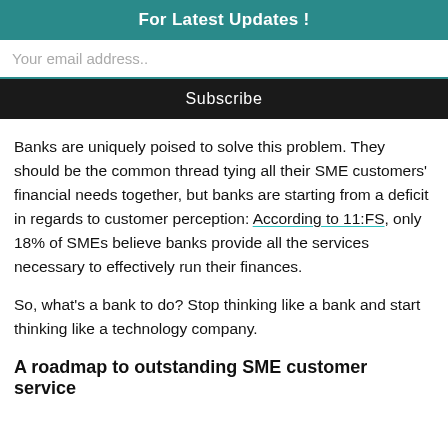For Latest Updates !
Your email address..
Subscribe
Banks are uniquely poised to solve this problem. They should be the common thread tying all their SME customers' financial needs together, but banks are starting from a deficit in regards to customer perception: According to 11:FS, only 18% of SMEs believe banks provide all the services necessary to effectively run their finances.
So, what's a bank to do? Stop thinking like a bank and start thinking like a technology company.
A roadmap to outstanding SME customer service